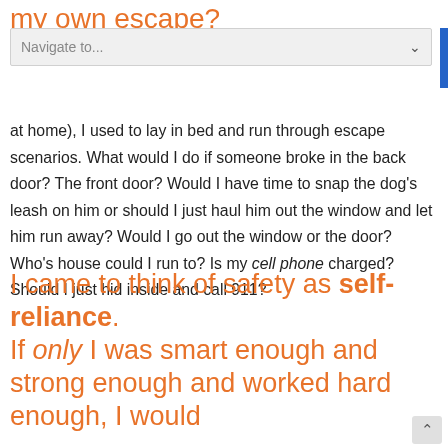my own escape?
Navigate to...
at home), I used to lay in bed and run through escape scenarios. What would I do if someone broke in the back door? The front door? Would I have time to snap the dog's leash on him or should I just haul him out the window and let him run away? Would I go out the window or the door? Who's house could I run to? Is my cell phone charged? Should I just hid inside and call 911?
I came to think of safety as self-reliance. If only I was smart enough and strong enough and worked hard enough, I would